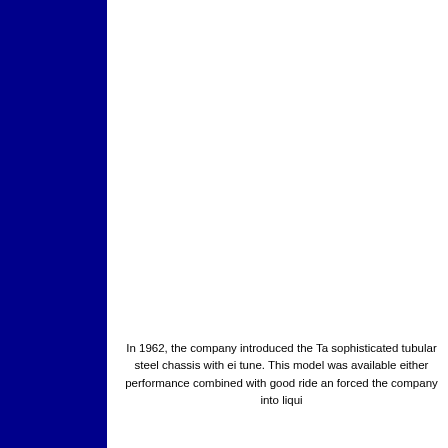[Figure (other): Dark navy blue vertical bar/column on the left side of the page, spanning full height]
In 1962, the company introduced the Ta sophisticated tubular steel chassis with ei tune. This model was available either performance combined with good ride an forced the company into liqui